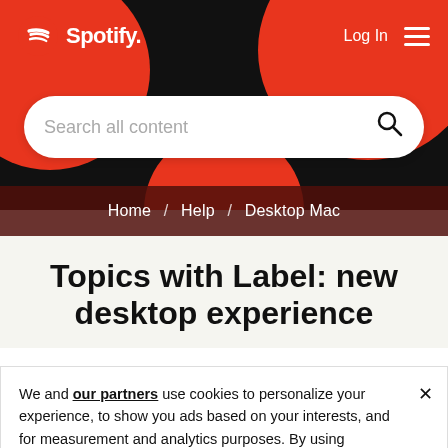[Figure (screenshot): Spotify website header with dark background and red circles decorative elements, Spotify logo top-left, Log In and hamburger menu top-right]
[Figure (other): Search bar with placeholder text 'Search all content' and search icon on white rounded pill background]
Home / Help / Desktop Mac
Topics with Label: new desktop experience
We and our partners use cookies to personalize your experience, to show you ads based on your interests, and for measurement and analytics purposes. By using